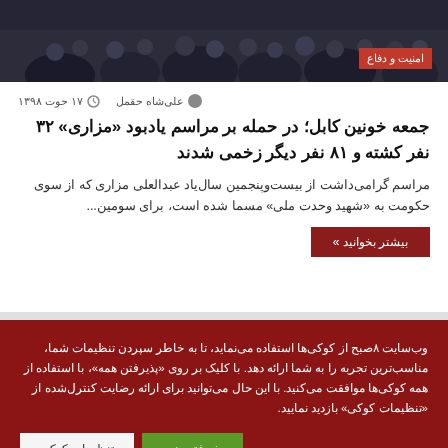[Figure (photo): Group of people seated, dark indoor setting]
امنیت و دفاع
علی‌شاه حقمل   ۱۷ حوت ۱۳۹۸
جمعه خونین کابل؛ در حمله بر مراسم یادبود «مزاری» ۳۲ نفر کشته و ۸۱ نفر دیگر زخمی شدند
مراسم گرامی‌داشت از بیست‌وپنجمین سال‌یاد عبدالعلی مزاری که از سوی حکومت به «شهید وحدت ملی» مسما شده است، برای سومین...
بیشتر بخوانید »
وب‌سایت ۸صبح از کوکی‌ها استفاده می‌نماید، تا به خاطر سپردن تنظیمات شما، مناسب‌ترین تجربه را به شما ارائه دهد. با کلیک بر روی «پذیرفتن همه»، با استفاده از همه کوکی‌ها موافقت می‌کنید. با این حال می‌توانید برای ارائه رضایت کنترل‌شده از «تنظیمات کوکی» بازدید نمایید.
پذیرفتن همه
تنظیمات کوکی